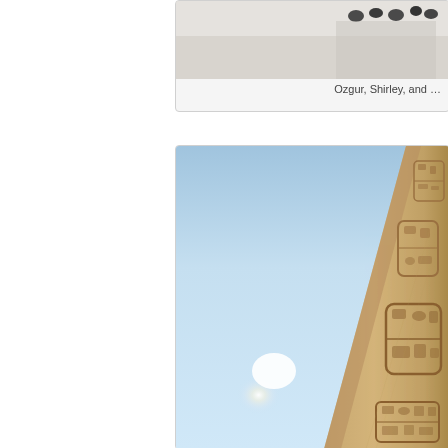[Figure (photo): Partial view of a photograph showing people at the top, cropped. Snow or bright background visible. Part of a photo card.]
Ozgur, Shirley, and …
[Figure (photo): Photograph of an ancient Egyptian obelisk with hieroglyphic carvings, taken from below looking up against a bright blue sky with lens flare (sun glare visible). The obelisk fills the right side of the frame, stone surface with carved cartouches and hieroglyphs visible.]